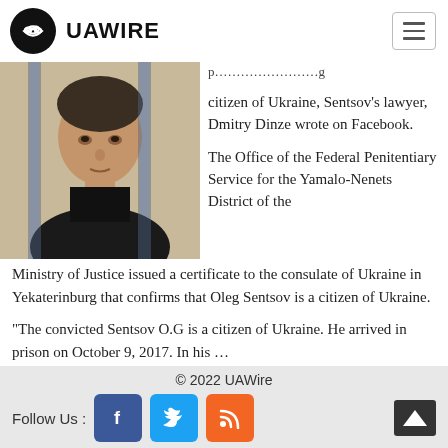UAWIRE
[Figure (photo): Man behind prison bars, close-up portrait photo]
citizen of Ukraine, Sentsov's lawyer, Dmitry Dinze wrote on Facebook.

The Office of the Federal Penitentiary Service for the Yamalo-Nenets District of the Ministry of Justice issued a certificate to the consulate of Ukraine in Yekaterinburg that confirms that Oleg Sentsov is a citizen of Ukraine.
"The convicted Sentsov O.G is a citizen of Ukraine. He arrived in prison on October 9, 2017. In his …
Read more...
© 2022 UAWire
Follow Us :